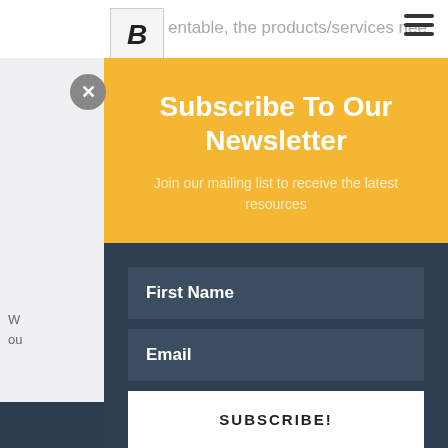[Figure (screenshot): Website navigation bar with B logo and hamburger menu icon, showing partial page text behind modal overlay]
Subscribe To Our Newsletter
Join our mailing list to receive the latest resources
First Name
Email
SUBSCRIBE!
We do not sell your information
Share This